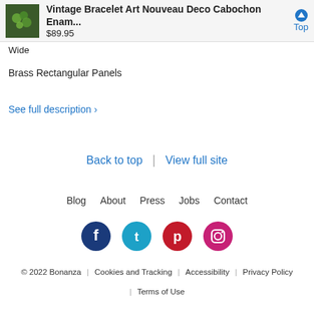Vintage Bracelet Art Nouveau Deco Cabochon Enam... $89.95 Top
Wide
Brass Rectangular Panels
See full description >
Back to top | View full site
Blog  About  Press  Jobs  Contact
[Figure (other): Social media icons: Facebook, Twitter, Pinterest, Instagram]
© 2022 Bonanza | Cookies and Tracking | Accessibility | Privacy Policy | Terms of Use